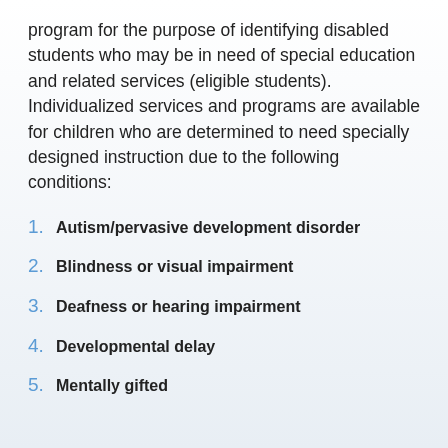program for the purpose of identifying disabled students who may be in need of special education and related services (eligible students). Individualized services and programs are available for children who are determined to need specially designed instruction due to the following conditions:
1. Autism/pervasive development disorder
2. Blindness or visual impairment
3. Deafness or hearing impairment
4. Developmental delay
5. Mentally gifted